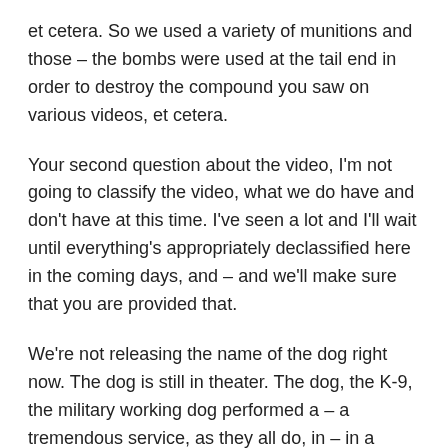et cetera. So we used a variety of munitions and those – the bombs were used at the tail end in order to destroy the compound you saw on various videos, et cetera.
Your second question about the video, I'm not going to classify the video, what we do have and don't have at this time. I've seen a lot and I'll wait until everything's appropriately declassified here in the coming days, and – and we'll make sure that you are provided that.
We're not releasing the name of the dog right now. The dog is still in theater. The dog, the K-9, the military working dog performed a – a tremendous service, as they all do, in – in a variety of situations. Slightly wounded and fully recovering, but the dog is still in theater, returned to duty with its handler.
So we're not going to release just yet photos or names of